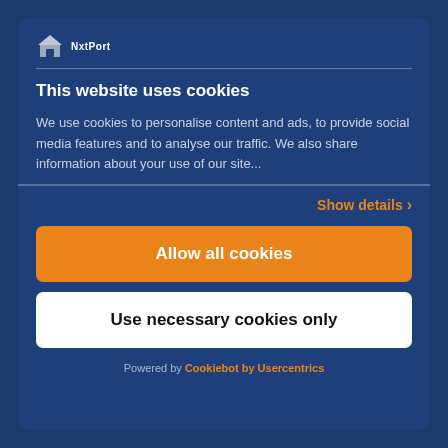[Figure (logo): NxtPort logo with house/building icon and text NxtPort]
This website uses cookies
We use cookies to personalise content and ads, to provide social media features and to analyse our traffic. We also share information about your use of our site...
Show details >
Allow all cookies
Use necessary cookies only
Powered by Cookiebot by Usercentrics